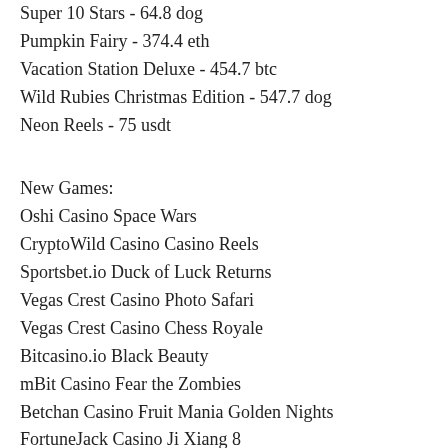Super 10 Stars - 64.8 dog
Pumpkin Fairy - 374.4 eth
Vacation Station Deluxe - 454.7 btc
Wild Rubies Christmas Edition - 547.7 dog
Neon Reels - 75 usdt
New Games:
Oshi Casino Space Wars
CryptoWild Casino Casino Reels
Sportsbet.io Duck of Luck Returns
Vegas Crest Casino Photo Safari
Vegas Crest Casino Chess Royale
Bitcasino.io Black Beauty
mBit Casino Fear the Zombies
Betchan Casino Fruit Mania Golden Nights
FortuneJack Casino Ji Xiang 8
BitcoinCasino.us Tribe
BitcoinCasino.us Maya
Playamo Casino Frankie Dettori Magic Seven Jackpot
FortuneJack Casino Klassik